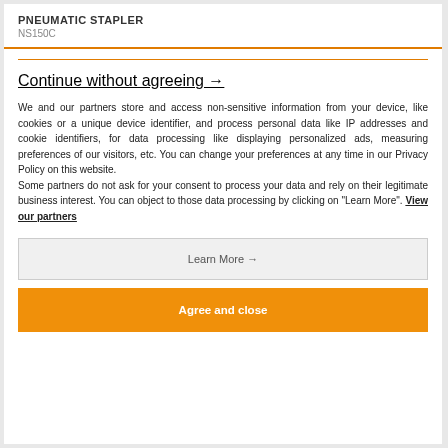PNEUMATIC STAPLER
NS150C
Continue without agreeing →
We and our partners store and access non-sensitive information from your device, like cookies or a unique device identifier, and process personal data like IP addresses and cookie identifiers, for data processing like displaying personalized ads, measuring preferences of our visitors, etc. You can change your preferences at any time in our Privacy Policy on this website.
Some partners do not ask for your consent to process your data and rely on their legitimate business interest. You can object to those data processing by clicking on "Learn More". View our partners
Learn More →
Agree and close